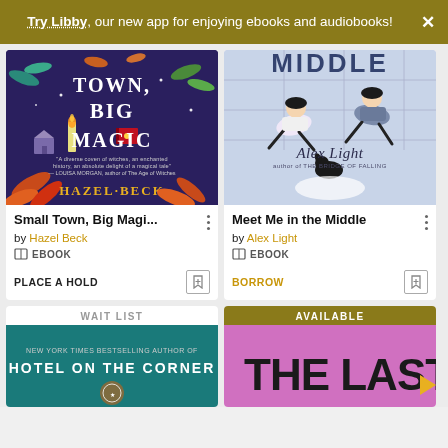Try Libby, our new app for enjoying ebooks and audiobooks!
[Figure (illustration): Book cover for Small Town, Big Magic by Hazel Beck - dark purple background with colorful botanical illustrations and large white text]
Small Town, Big Magi...
by Hazel Beck
EBOOK
PLACE A HOLD
[Figure (illustration): Book cover for Meet Me in the Middle by Alex Light - light blue/purple background with illustrated characters floating]
Meet Me in the Middle
by Alex Light
EBOOK
BORROW
WAIT LIST
[Figure (illustration): Partial book cover - teal background with text Hotel on the Corner]
AVAILABLE
THE LAST